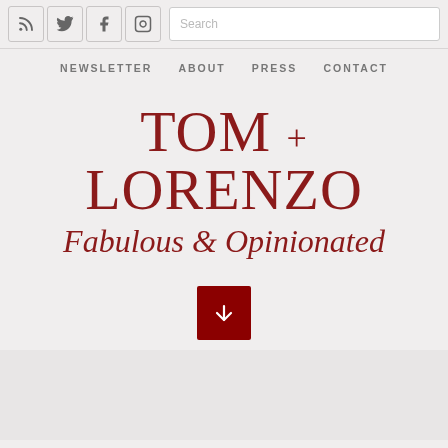Social icons (RSS, Twitter, Facebook, Instagram) and Search bar
NEWSLETTER   ABOUT   PRESS   CONTACT
TOM + LORENZO Fabulous & Opinionated
[Figure (other): Dark red square button with a downward arrow icon]